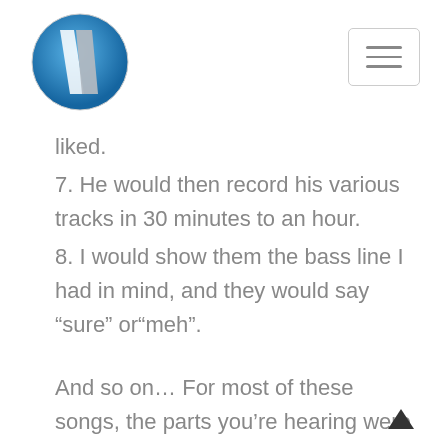[Logo and navigation]
liked.
7. He would then record his various tracks in 30 minutes to an hour.
8. I would show them the bass line I had in mind, and they would say “sure” or“meh”.
And so on… For most of these songs, the parts you’re hearing were